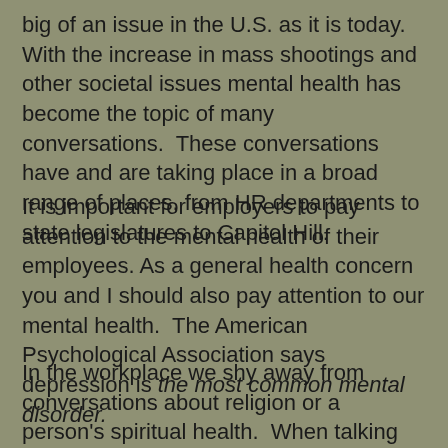big of an issue in the U.S. as it is today. With the increase in mass shootings and other societal issues mental health has become the topic of many conversations.  These conversations have and are taking place in a broad range of places, from HR departments to state legislatures to Capitol Hill.
It is important for employers to pay attention to the mental health of their employees. As a general health concern you and I should also pay attention to our mental health.  The American Psychological Association says depression is the most common mental disorder.
In the workplace we shy away from conversations about religion or a person's spiritual health.  When talking about spiritual health we don't necessarily have to talk about organized religion. I'm aware that